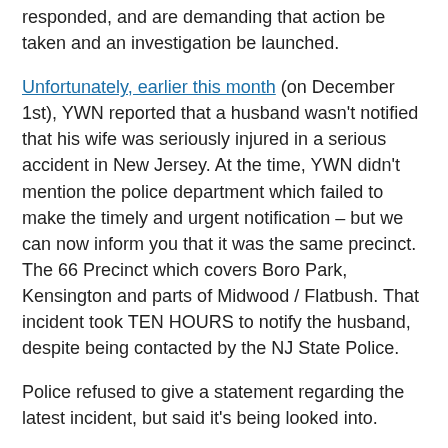responded, and are demanding that action be taken and an investigation be launched.
Unfortunately, earlier this month (on December 1st), YWN reported that a husband wasn’t notified that his wife was seriously injured in a serious accident in New Jersey. At the time, YWN didn’t mention the police department which failed to make the timely and urgent notification – but we can now inform you that it was the same precinct. The 66 Precinct which covers Boro Park, Kensington and parts of Midwood / Flatbush. That incident took TEN HOURS to notify the husband, despite being contacted by the NJ State Police.
Police refused to give a statement regarding the latest incident, but said it’s being looked into.
(Charles Gross -YWN)